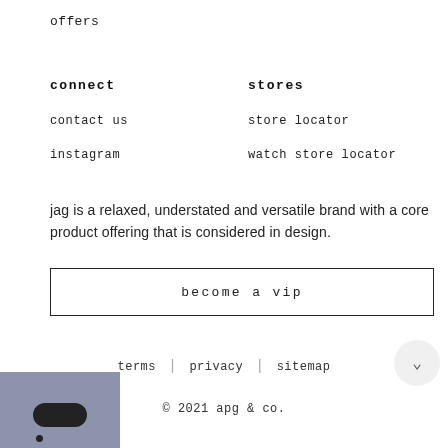offers
connect
stores
contact us
store locator
instagram
watch store locator
jag is a relaxed, understated and versatile brand with a core product offering that is considered in design.
become a vip
terms | privacy | sitemap
© 2021 apg & co.